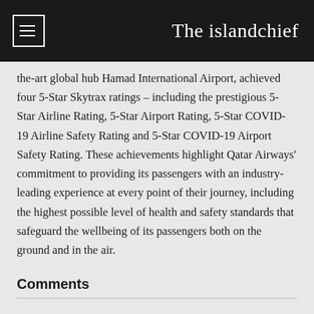The islandchief
the-art global hub Hamad International Airport, achieved four 5-Star Skytrax ratings – including the prestigious 5-Star Airline Rating, 5-Star Airport Rating, 5-Star COVID-19 Airline Safety Rating and 5-Star COVID-19 Airport Safety Rating. These achievements highlight Qatar Airways' commitment to providing its passengers with an industry-leading experience at every point of their journey, including the highest possible level of health and safety standards that safeguard the wellbeing of its passengers both on the ground and in the air.
Comments